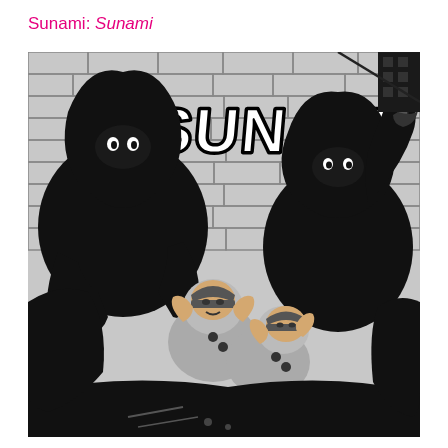Sunami: Sunami
[Figure (illustration): Black and white punk/hardcore album cover illustration showing two hooded figures holding weapons (gun and baton/knife) over two police officers on the ground, against a brick wall with graffiti-style bubble letter text reading 'SUNAMI']